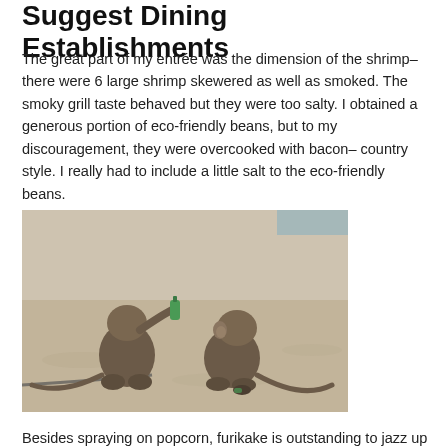Suggest Dining Establishments
The great part of my entrée was the dimension of the shrimp– there were 6 large shrimp skewered as well as smoked. The smoky grill taste behaved but they were too salty. I obtained a generous portion of eco-friendly beans, but to my discouragement, they were overcooked with bacon– country style. I really had to include a little salt to the eco-friendly beans.
[Figure (photo): Two monkeys sitting on sandy ground, one holding and drinking from a green bottle, facing each other.]
Besides spraying on popcorn, furikake is outstanding to jazz up plain white rice, vegetables, fish, and eggs. You can buy furikake and